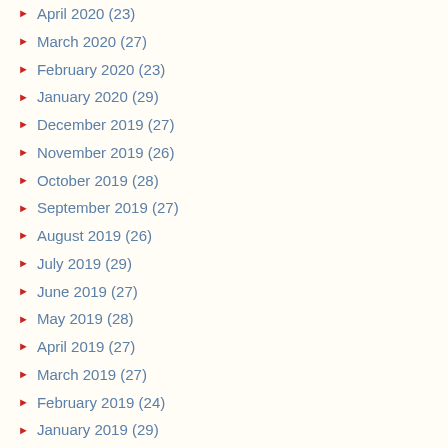April 2020 (23)
March 2020 (27)
February 2020 (23)
January 2020 (29)
December 2019 (27)
November 2019 (26)
October 2019 (28)
September 2019 (27)
August 2019 (26)
July 2019 (29)
June 2019 (27)
May 2019 (28)
April 2019 (27)
March 2019 (27)
February 2019 (24)
January 2019 (29)
December 2018 (27)
November 2018 (26)
October 2018 (28)
September 2018 (25)